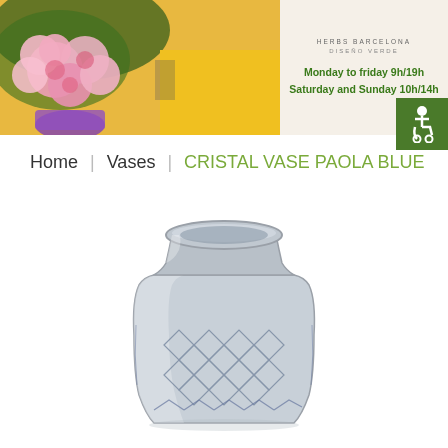[Figure (photo): Header photo showing pink roses bouquet with yellow taxi in background]
[Figure (photo): Store info panel showing HERBS BARCELONA, DISEÑO VERDE, opening hours: Monday to friday 9h/19h, Saturday and Sunday 10h/14h]
Home | Vases | CRISTAL VASE PAOLA BLUE
[Figure (photo): Crystal glass vase Paola Blue - clear glass jar-style vase with diamond cut pattern on lower half, wide opening at top]